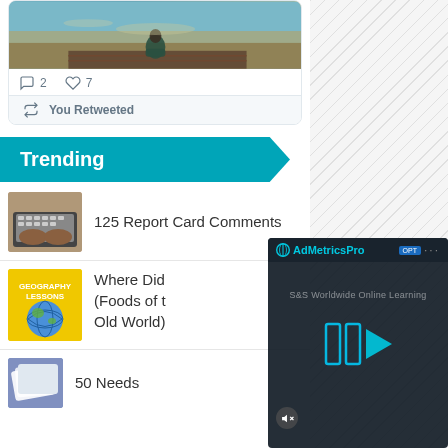[Figure (photo): Twitter card with image of person sitting by water on wooden dock, sunset background]
2   7
You Retweeted
Trending
[Figure (photo): Thumbnail of hands typing on laptop keyboard]
125 Report Card Comments
[Figure (photo): Geography Lessons thumbnail with globe on yellow background]
Where Did (Foods of the Old World)
[Figure (screenshot): AdMetricsPro video overlay with play button and S&S Worldwide Online Learning text]
[Figure (photo): Small thumbnail partially visible at bottom]
50 Needs